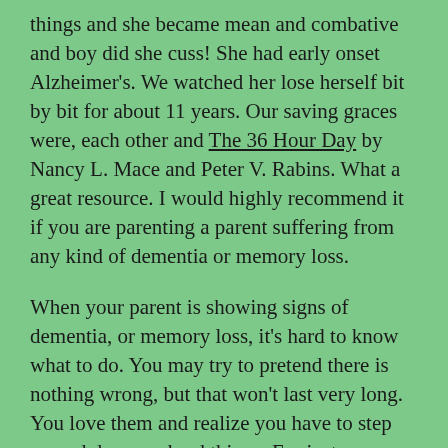things and she became mean and combative and boy did she cuss! She had early onset Alzheimer's. We watched her lose herself bit by bit for about 11 years. Our saving graces were, each other and The 36 Hour Day by Nancy L. Mace and Peter V. Rabins. What a great resource. I would highly recommend it if you are parenting a parent suffering from any kind of dementia or memory loss.
When your parent is showing signs of dementia, or memory loss, it's hard to know what to do. You may try to pretend there is nothing wrong, but that won't last very long.  You love them and realize you have to step up and do some hard things. For instance:
convincing them they need to leave their